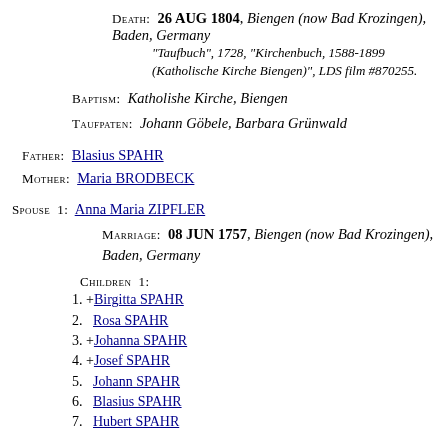DEATH: 26 AUG 1804, Biengen (now Bad Krozingen), Baden, Germany
"Taufbuch", 1728, "Kirchenbuch, 1588-1899 (Katholische Kirche Biengen)", LDS film #870255.
BAPTISM: Katholishe Kirche, Biengen
TAUFPATEN: Johann Göbele, Barbara Grünwald
FATHER: Blasius SPAHR
MOTHER: Maria BRODBECK
SPOUSE 1: Anna Maria ZIPFLER
MARRIAGE: 08 JUN 1757, Biengen (now Bad Krozingen), Baden, Germany
CHILDREN 1:
1. +Birgitta SPAHR
2. Rosa SPAHR
3. +Johanna SPAHR
4. +Josef SPAHR
5. Johann SPAHR
6. Blasius SPAHR
7. Hubert SPAHR